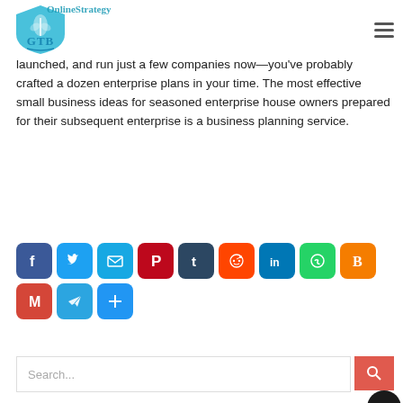GTB Online Strategy
launched, and run just a few companies now—you've probably crafted a dozen enterprise plans in your time. The most effective small business ideas for seasoned enterprise house owners prepared for their subsequent enterprise is a business planning service.
[Figure (other): Row of social share icon buttons: Facebook, Twitter, Email, Pinterest, Tumblr, Reddit, LinkedIn, WhatsApp, Blogger, Gmail, Telegram, Share+]
[Figure (other): Search bar with red search button and back-to-top circular button]